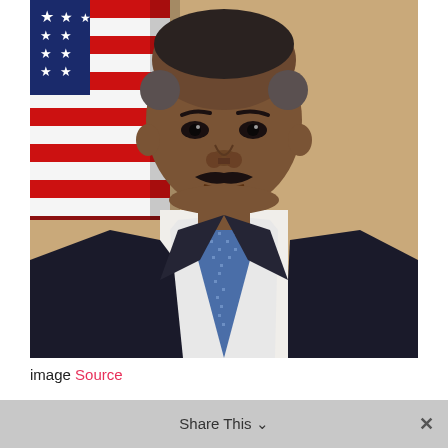[Figure (photo): Official portrait photo of a man in a dark suit and blue patterned tie, with an American flag in the background to the left. He has a mustache and short gray-black hair. The background on the right is a warm tan/beige color.]
image Source
Share This ×